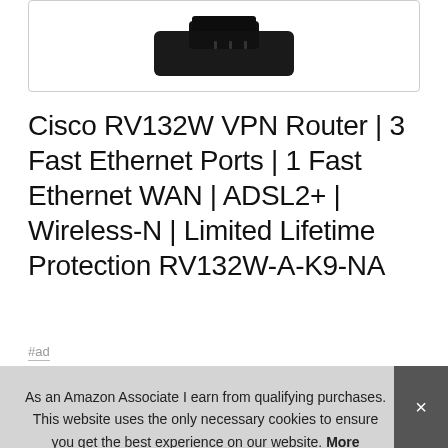[Figure (photo): Partial product image of a Cisco RV132W VPN Router against white background, showing top portion of the router device]
Cisco RV132W VPN Router | 3 Fast Ethernet Ports | 1 Fast Ethernet WAN | ADSL2+ | Wireless-N | Limited Lifetime Protection RV132W-A-K9-NA
#ad
As an Amazon Associate I earn from qualifying purchases. This website uses the only necessary cookies to ensure you get the best experience on our website. More information